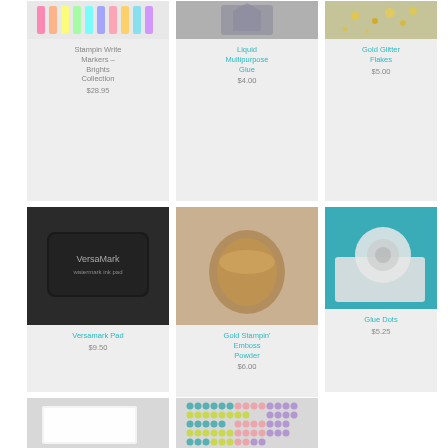[Figure (photo): Product grid showing crafting supplies. Row 1: Stampin Write Markers Brights Collection photo, Liquid Multipurpose Glue photo, Gold Glitter Flakes photo. Row 2: Versamark Pad photo, Gold Stampin' Emboss Powder photo, Glue Dots photo. Row 3: white sheet photo, pearl dots grid photo.]
Stampin Write Markers – Brights Collection
$28.95
Liquid Multipurpose Glue
$4.00
Gold Glitter Flakes
$5.00
Versamark Pad
$9.50
Gold Stampin' Emboss Powder
$6.00
Glue Dots
$5.25